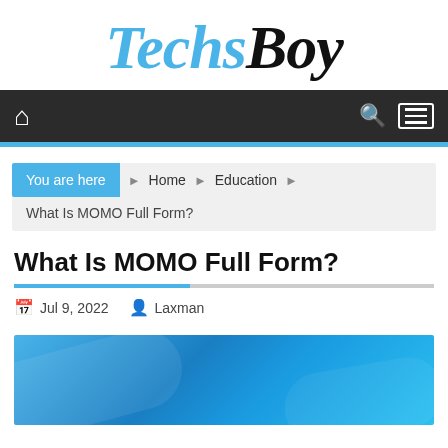TechsBoy
Home  Education  What Is MOMO Full Form?
What Is MOMO Full Form?
Jul 9, 2022  Laxman
[Figure (photo): Blue gradient background image for article header]